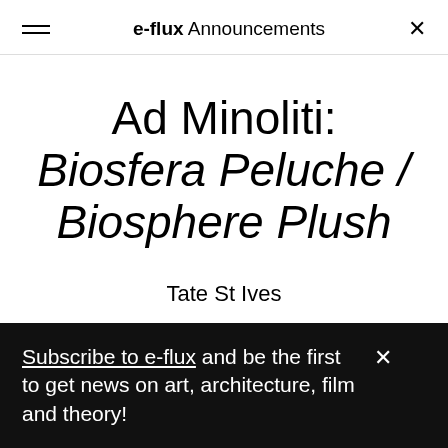e-flux Announcements
Ad Minoliti: Biosfera Peluche / Biosphere Plush
Tate St Ives
Subscribe to e-flux and be the first to get news on art, architecture, film and theory!